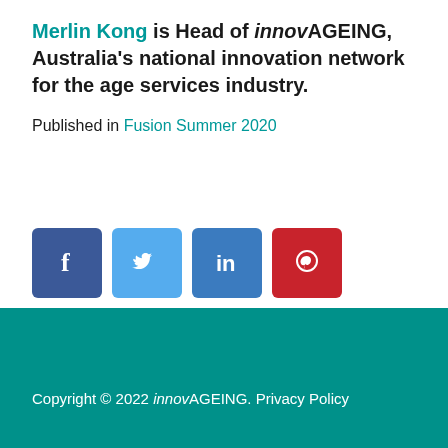Merlin Kong is Head of innovAGEING, Australia's national innovation network for the age services industry.
Published in Fusion Summer 2020
[Figure (infographic): Social media share buttons: Facebook (blue), Twitter (light blue), LinkedIn (medium blue), Pinterest (red)]
Copyright © 2022 innovAGEING. Privacy Policy